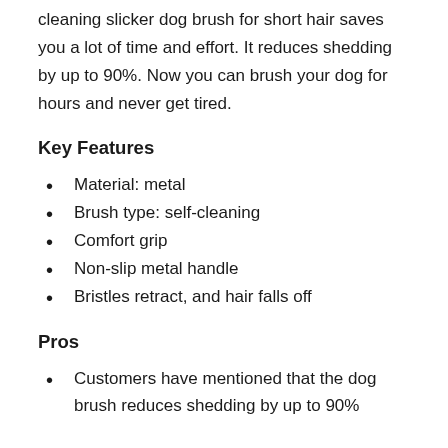cleaning slicker dog brush for short hair saves you a lot of time and effort. It reduces shedding by up to 90%. Now you can brush your dog for hours and never get tired.
Key Features
Material: metal
Brush type: self-cleaning
Comfort grip
Non-slip metal handle
Bristles retract, and hair falls off
Pros
Customers have mentioned that the dog brush reduces shedding by up to 90%